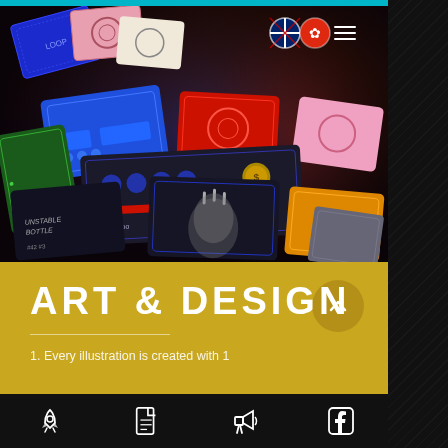[Figure (photo): Overhead shot of colorful board game cards scattered on a dark surface, including blue, red, green, pink and dark cards with game UI elements]
ART & DESIGN
1. Every illustration is created with 1
Navigation bar with icons: rocket, document, megaphone, facebook